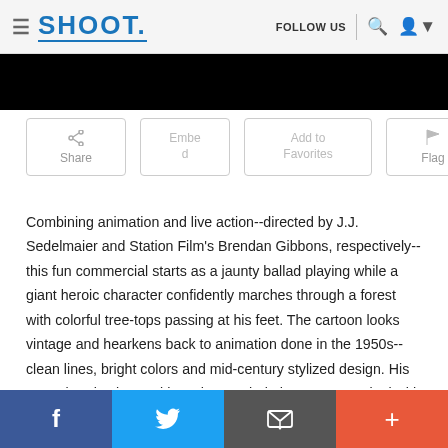SHOOT. | FOLLOW US
[Figure (screenshot): Black video/image bar below the site header]
[Figure (screenshot): Share button row with Share, Embed, Add to Favorites, and Flag buttons]
Combining animation and live action--directed by J.J. Sedelmaier and Station Film's Brendan Gibbons, respectively--this fun commercial starts as a jaunty ballad playing while a giant heroic character confidently marches through a forest with colorful tree-tops passing at his feet. The cartoon looks vintage and hearkens back to animation done in the 1950s--clean lines, bright colors and mid-century stylized design. His name is “Big Jim” and he’s there to help homeowners deal with disaster. Big Jim saves a couple with a flooded home
Facebook | Twitter | Email | Plus